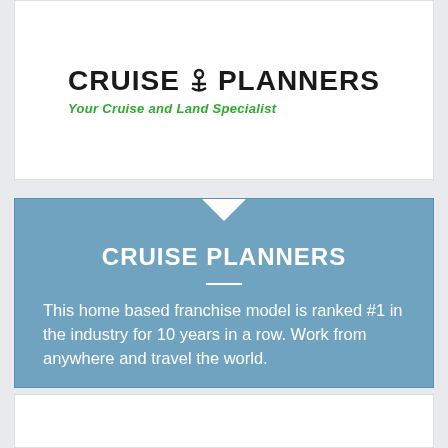[Figure (logo): Cruise Planners logo with anchor icon and tagline 'Your Cruise and Land Specialist' in green italic]
CRUISE PLANNERS
This home based franchise model is ranked #1 in the industry for 10 years in a row. Work from anywhere and travel the world.
CASH REQUIRED: $10,995
Request FREE Info